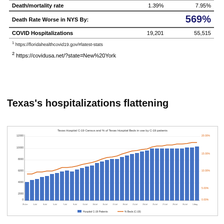|  | Florida¹ | New York² |
| --- | --- | --- |
| Death/mortality rate | 1.39% | 7.95% |
| Death Rate Worse in NYS By: |  | 569% |
| COVID Hospitalizations | 19,201 | 55,515 |
Texas's hospitalizations flattening
[Figure (bar-chart): Bar chart showing Texas hospital C-19 census (blue bars, left axis) and percentage of Texas hospital beds in use by C-19 patients (orange line, right axis) over time. Values increase from roughly 3000 to 13000 for hospitalizations, with bed percentage rising from about 8% to 19%.]